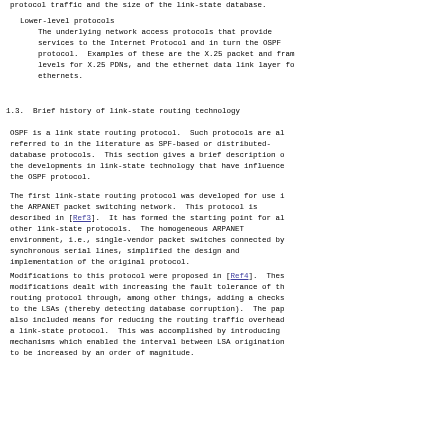protocol traffic and the size of the link-state database.
Lower-level protocols
    The underlying network access protocols that provide services to the Internet Protocol and in turn the OSPF protocol.  Examples of these are the X.25 packet and frame levels for X.25 PDNs, and the ethernet data link layer for ethernets.
1.3.  Brief history of link-state routing technology
OSPF is a link state routing protocol.  Such protocols are also referred to in the literature as SPF-based or distributed-database protocols.  This section gives a brief description of the developments in link-state technology that have influenced the OSPF protocol.
The first link-state routing protocol was developed for use in the ARPANET packet switching network.  This protocol is described in [Ref3].  It has formed the starting point for all other link-state protocols.  The homogeneous ARPANET environment, i.e., single-vendor packet switches connected by synchronous serial lines, simplified the design and implementation of the original protocol.
Modifications to this protocol were proposed in [Ref4].  These modifications dealt with increasing the fault tolerance of the routing protocol through, among other things, adding a checksum to the LSAs (thereby detecting database corruption).  The paper also included means for reducing the routing traffic overhead of a link-state protocol.  This was accomplished by introducing mechanisms which enabled the interval between LSA originations to be increased by an order of magnitude.